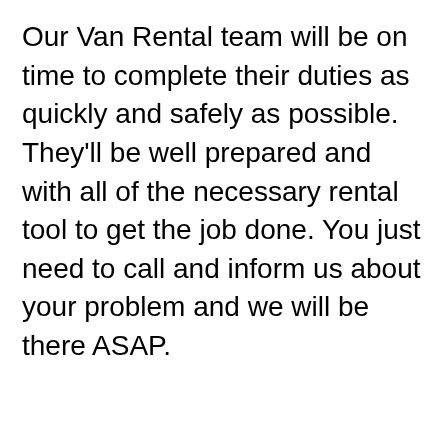Our Van Rental team will be on time to complete their duties as quickly and safely as possible. They'll be well prepared and with all of the necessary rental tool to get the job done. You just need to call and inform us about your problem and we will be there ASAP.